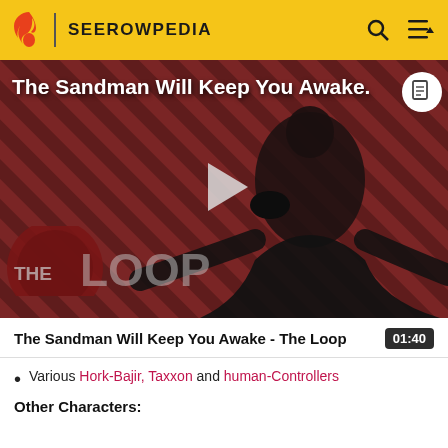SEEROWPEDIA
[Figure (screenshot): Video thumbnail for 'The Sandman Will Keep You Awake - The Loop' showing a dark figure in black cloak against a red/dark diagonal striped background with 'THE LOOP' text overlay and a play button in the center]
The Sandman Will Keep You Awake - The Loop  01:40
Various Hork-Bajir, Taxxon and human-Controllers
Other Characters: